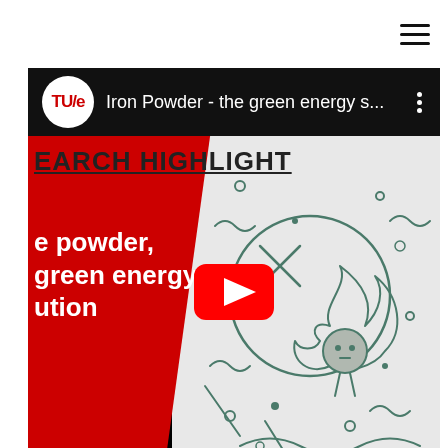≡ (hamburger menu icon)
[Figure (screenshot): YouTube video thumbnail for TU/e 'Iron Powder - the green energy s...' showing a red panel on the left with text 'RESEARCH HIGHLIGHT' and 'powder, green energy ution', and a cartoon illustration of an iron particle with flames on the right. A YouTube play button is centered on the thumbnail.]